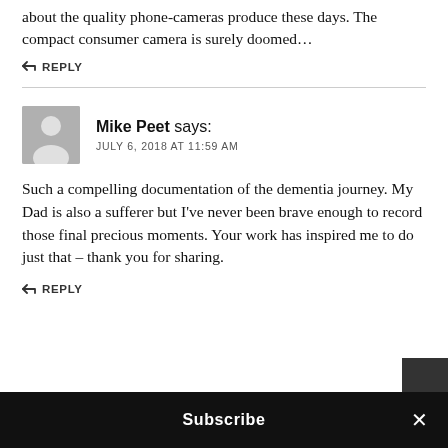about the quality phone-cameras produce these days. The compact consumer camera is surely doomed...
↩ REPLY
Mike Peet says:
JULY 6, 2018 AT 11:59 AM
Such a compelling documentation of the dementia journey. My Dad is also a sufferer but I've never been brave enough to record those final precious moments. Your work has inspired me to do just that – thank you for sharing.
↩ REPLY
Subscribe